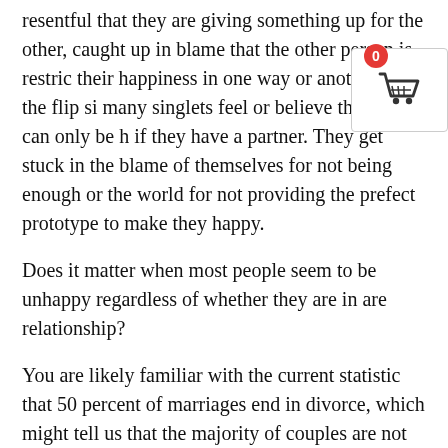resentful that they are giving something up for the other, caught up in blame that the other person is restricting their happiness in one way or another. On the flip side, many singlets feel or believe that they can only be happy if they have a partner. They get stuck in the blame of themselves for not being enough or the world for not providing the prefect prototype to make they happy.
Does it matter when most people seem to be unhappy regardless of whether they are in are relationship?
You are likely familiar with the current statistic that 50 percent of marriages end in divorce, which might tell us that the majority of couples are not happy, or at least one of the partners is not. Studies show that many second marriages end in divorce, too, suggesting that remarried adults may be more likely than adults in first marriages to take steps toward divorce when experiencing marital